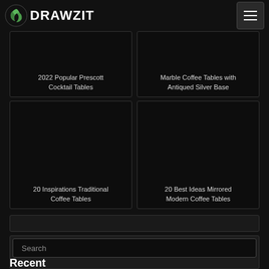DRAWZIT
2022 Popular Prescott Cocktail Tables
Marble Coffee Tables with Antiqued Silver Base
20 Inspirations Traditional Coffee Tables
20 Best Ideas Mirrored Modern Coffee Tables
Search
Recent